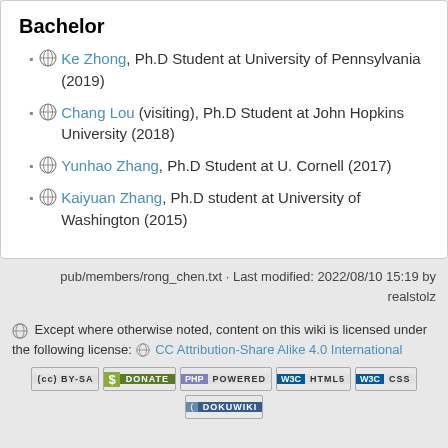Bachelor
Ke Zhong, Ph.D Student at University of Pennsylvania (2019)
Chang Lou (visiting), Ph.D Student at John Hopkins University (2018)
Yunhao Zhang, Ph.D Student at U. Cornell (2017)
Kaiyuan Zhang, Ph.D student at University of Washington (2015)
pub/members/rong_chen.txt · Last modified: 2022/08/10 15:19 by realstolz
Except where otherwise noted, content on this wiki is licensed under the following license: CC Attribution-Share Alike 4.0 International